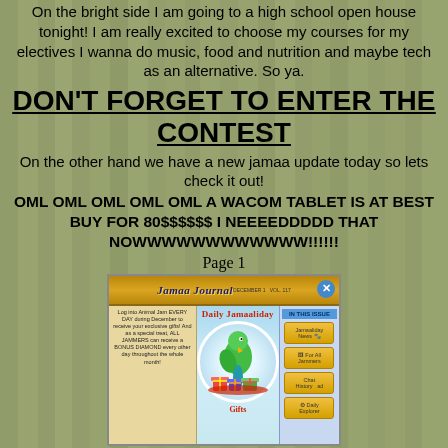On the bright side I am going to a high school open house tonight! I am really excited to choose my courses for my electives I wanna do music, food and nutrition and maybe tech as an alternative. So ya.
DON'T FORGET TO ENTER THE CONTEST
On the other hand we have a new jamaa update today so lets check it out!
OML OML OML OML OML A WACOM TABLET IS AT BEST BUY FOR 80$$$$$$ I NEEEEDDDDD THAT NOWWWWWWWWWWWW!!!!!!
Page 1
[Figure (screenshot): Screenshot of the Jamaa Journal game update page showing 'Daily Jamaaliday Gifts' with a parrot surrounded by colorful gifts, left panel text about logging in every day during December, and right sidebar with 'IN THIS ISSUE' navigation buttons.]